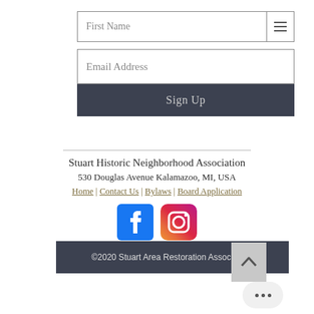First Name
Email Address
Sign Up
Stuart Historic Neighborhood Association
530 Douglas Avenue Kalamazoo, MI, USA
Home | Contact Us | Bylaws | Board Application
[Figure (logo): Facebook and Instagram social media icons]
©2020 Stuart Area Restoration Association.